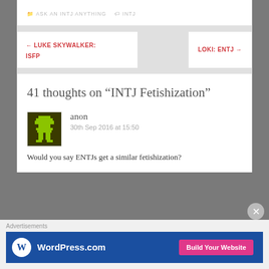ASK AN INTJ ANYTHING   INTJ
← LUKE SKYWALKER: ISFP
LOKI: ENTJ →
41 thoughts on "INTJ Fetishization"
anon
30th Sep 2016 at 15:50
Would you say ENTJs get a similar fetishization?
Advertisements
[Figure (screenshot): WordPress.com advertisement banner with blue background, WordPress logo on left and pink 'Build Your Website' button on right]